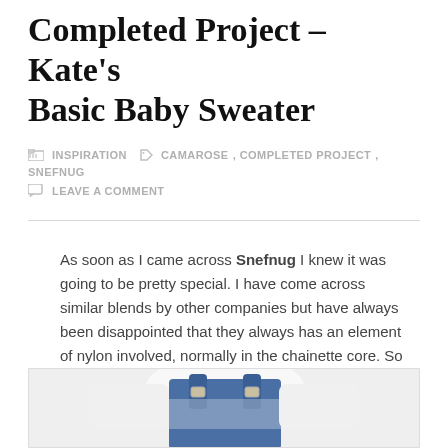Completed Project – Kate's Basic Baby Sweater
INSPIRATION   CAMAROSE, COMPLETED PROJECT, SNEFNUG   LEAVE A COMMENT
As soon as I came across Snefnug I knew it was going to be pretty special. I have come across similar blends by other companies but have always been disappointed that they always has an element of nylon involved, normally in the chainette core. So I was really excited to find this blend by CaMaRose which is all natural, using cotton at the chainette core.
[Figure (photo): Photo of a child wearing blue denim overalls with a white shirt, cropped at waist/shoulder level]